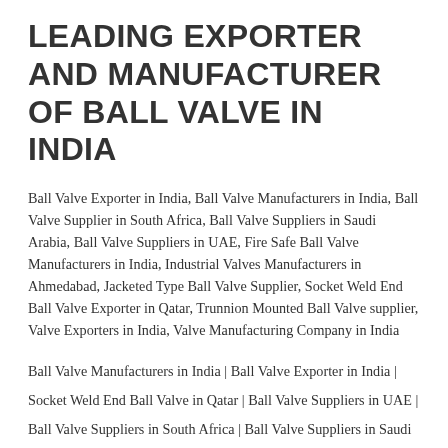LEADING EXPORTER AND MANUFACTURER OF BALL VALVE IN INDIA
Ball Valve Exporter in India, Ball Valve Manufacturers in India, Ball Valve Supplier in South Africa, Ball Valve Suppliers in Saudi Arabia, Ball Valve Suppliers in UAE, Fire Safe Ball Valve Manufacturers in India, Industrial Valves Manufacturers in Ahmedabad, Jacketed Type Ball Valve Supplier, Socket Weld End Ball Valve Exporter in Qatar, Trunnion Mounted Ball Valve supplier, Valve Exporters in India, Valve Manufacturing Company in India
Ball Valve Manufacturers in India | Ball Valve Exporter in India | Socket Weld End Ball Valve in Qatar | Ball Valve Suppliers in UAE | Ball Valve Suppliers in South Africa | Ball Valve Suppliers in Saudi Arabia | Ball Valve Suppliers in Johannesburg | Valve Exporters in India | Trunnion Mounted Ball Valve ...